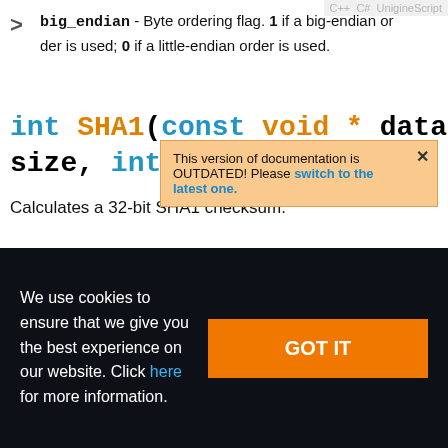big_endian - Byte ordering flag. 1 if a big-endian order is used; 0 if a little-endian order is used.
int SHA1(const void * data, int size, int big_endian)
This version of documentation is OUTDATED! Please switch to the latest one.
Calculates a 32-bit SHA1 checksum.
We use cookies to ensure that we give you the best experience on our website. Click here for more information.